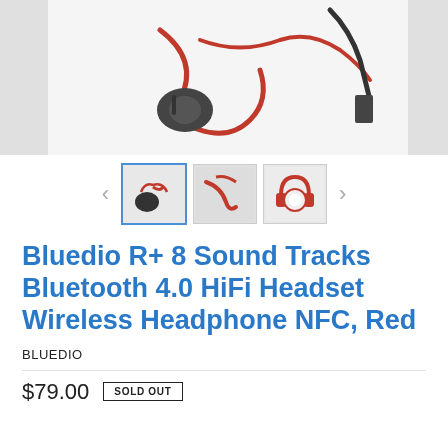[Figure (photo): Product photo of Bluedio R+ headphones with red cables and accessories on white background]
[Figure (photo): Thumbnail carousel with three product images: headphones with red cable, red earbuds/cable close-up, and red over-ear headphones side view. The first thumbnail is selected with a blue border. Navigation arrows on left and right.]
Bluedio R+ 8 Sound Tracks Bluetooth 4.0 HiFi Headset Wireless Headphone NFC, Red
BLUEDIO
$79.00  SOLD OUT